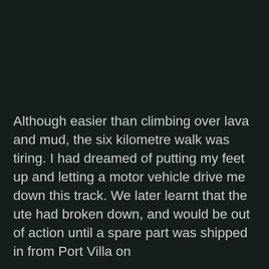[Figure (photo): Dark near-black image, likely a nighttime or very dark outdoor scene, possibly showing lava or terrain. The image fills most of the upper portion of the page.]
Although easier than climbing over lava and mud, the six kilometre walk was tiring. I had dreamed of putting my feet up and letting a motor vehicle drive me down this track. We later learnt that the ute had broken down, and would be out of action until a spare part was shipped in from Port Villa on